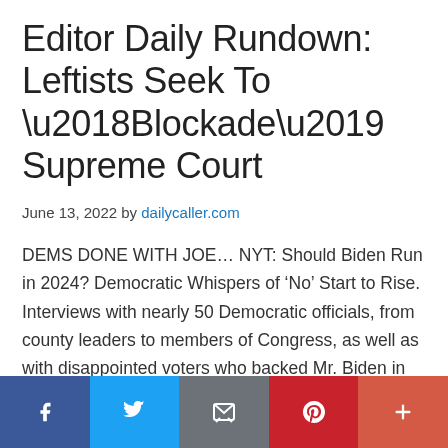Editor Daily Rundown: Leftists Seek To ‘Blockade’ Supreme Court
June 13, 2022 by dailycaller.com
DEMS DONE WITH JOE… NYT: Should Biden Run in 2024? Democratic Whispers of ‘No’ Start to Rise. Interviews with nearly 50 Democratic officials, from county leaders to members of Congress, as well as with disappointed voters who backed Mr. Biden in 2020, reveal a party alarmed about Republicans’ rising strength and extraordinarily pessimistic